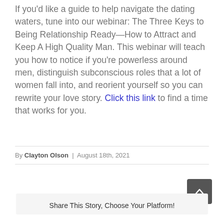If you'd like a guide to help navigate the dating waters, tune into our webinar: The Three Keys to Being Relationship Ready—How to Attract and Keep A High Quality Man. This webinar will teach you how to notice if you're powerless around men, distinguish subconscious roles that a lot of women fall into, and reorient yourself so you can rewrite your love story. Click this link to find a time that works for you.
By Clayton Olson | August 18th, 2021
Share This Story, Choose Your Platform!